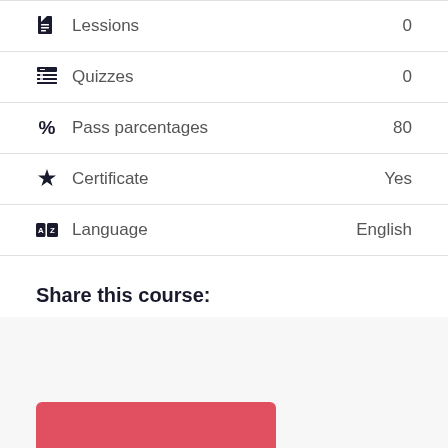Lessions   0
Quizzes   0
Pass parcentages   80
Certificate   Yes
Language   English
Share this course: